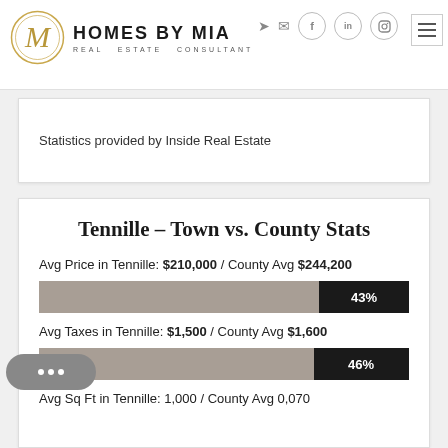[Figure (logo): Homes by Mia - Real Estate Consultant logo with stylized M in gold circle]
Statistics provided by Inside Real Estate
Tennille - Town vs. County Stats
Avg Price in Tennille: $210,000 / County Avg $244,200
[Figure (bar-chart): Avg Price percentage bar]
Avg Taxes in Tennille: $1,500 / County Avg $1,600
[Figure (bar-chart): Avg Taxes percentage bar]
Avg Sq Ft in Tennille: 1,000 / County Avg 0,070